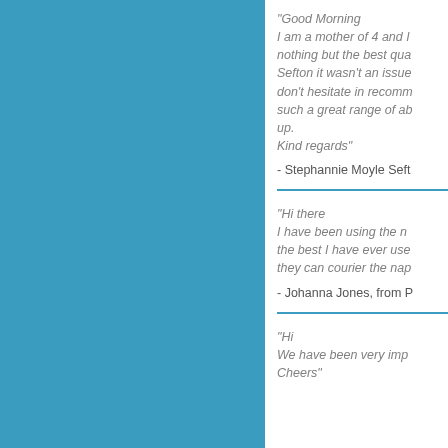"Good Morning
I am a mother of 4 and I nothing but the best qua Sefton it wasn't an issue don't hesitate in recomm such a great range of ab up.
Kind regards"
- Stephannie Moyle Seft
"Hi there
I have been using the n the best I have ever use they can courier the nap
- Johanna Jones, from P
"Hi
We have been very imp Cheers"